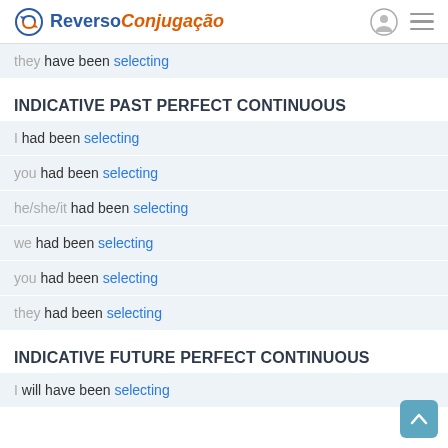Reverso Conjugação
they have been selecting
INDICATIVE PAST PERFECT CONTINUOUS
I had been selecting
you had been selecting
he/she/it had been selecting
we had been selecting
you had been selecting
they had been selecting
INDICATIVE FUTURE PERFECT CONTINUOUS
I will have been selecting